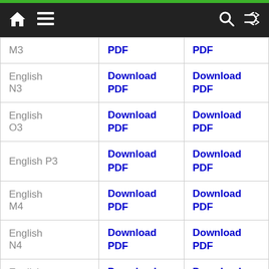Navigation bar with home, menu, search, and shuffle icons
| Subject | Column 2 | Column 3 |
| --- | --- | --- |
| M3 | PDF | PDF |
| English N3 | Download PDF | Download PDF |
| English O3 | Download PDF | Download PDF |
| English P3 | Download PDF | Download PDF |
| English M4 | Download PDF | Download PDF |
| English N4 | Download PDF | Download PDF |
| English O4 | Download PDF | Download PDF |